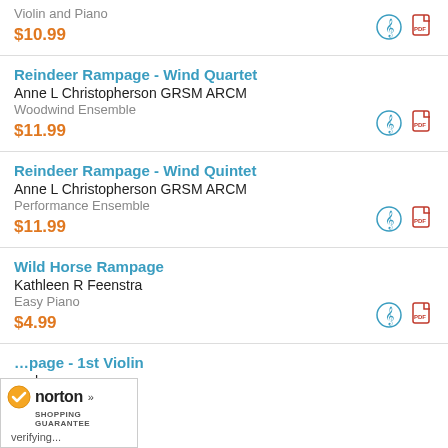Violin and Piano
$10.99
Reindeer Rampage - Wind Quartet
Anne L Christopherson GRSM ARCM
Woodwind Ensemble
$11.99
Reindeer Rampage - Wind Quintet
Anne L Christopherson GRSM ARCM
Performance Ensemble
$11.99
Wild Horse Rampage
Kathleen R Feenstra
Easy Piano
$4.99
...page - 1st Violin
...sham
[Figure (logo): Norton Shopping Guarantee badge with checkmark, verifying...]